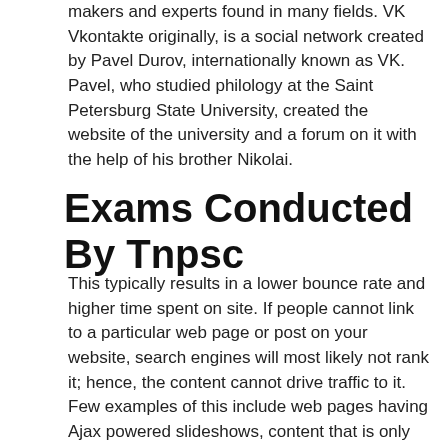makers and experts found in many fields. VK Vkontakte originally, is a social network created by Pavel Durov, internationally known as VK. Pavel, who studied philology at the Saint Petersburg State University, created the website of the university and a forum on it with the help of his brother Nikolai.
Exams Conducted By Tnpsc
This typically results in a lower bounce rate and higher time spent on site. If people cannot link to a particular web page or post on your website, search engines will most likely not rank it; hence, the content cannot drive traffic to it. Few examples of this include web pages having Ajax powered slideshows, content that is only accessible after logging in, or content that cannot be shared or reproduced. URL Structure The URL structure is an important on page SEO factor that helps search engines understand the relevance of the page. It is also helpful from an anchor text point of view, because if the